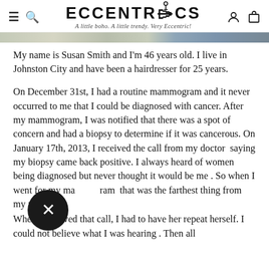ECCENTRICS — A little boho. A little trendy. Very Eccentric!
[Figure (photo): Partial banner image strip showing clothing or lifestyle imagery, cropped horizontally]
My name is Susan Smith and I'm 46 years old. I live in Johnston City and have been a hairdresser for 25 years.
On December 31st, I had a routine mammogram and it never occurred to me that I could be diagnosed with cancer. After my mammogram, I was notified that there was a spot of concern and had a biopsy to determine if it was cancerous. On January 17th, 2013, I received the call from my doctor  saying my biopsy came back positive. I always heard of women being diagnosed but never thought it would be me . So when I went for my mammogram  that was the farthest thing from my mind .
When I received that call, I had to have her repeat herself. I could not believe what I was hearing . Then all